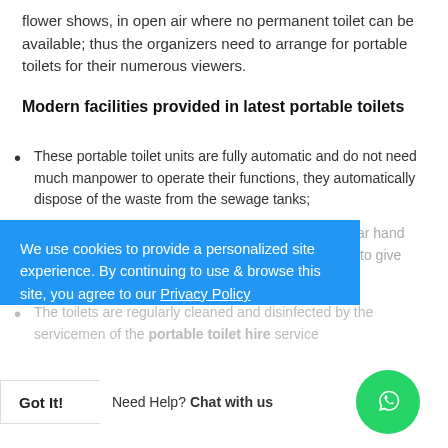flower shows, in open air where no permanent toilet can be available; thus the organizers need to arrange for portable toilets for their numerous viewers.
Modern facilities provided in latest portable toilets
These portable toilet units are fully automatic and do not need much manpower to operate their functions, they automatically dispose of the waste from the sewage tanks;
They also provide an adequate amount of liquid or bar hand soap, tissue paper, towel, mirror and also hair dryer; to give home comforts of home
The toilets are regularly cleaned and disinfected by the servicemen of the portable toilet hire service